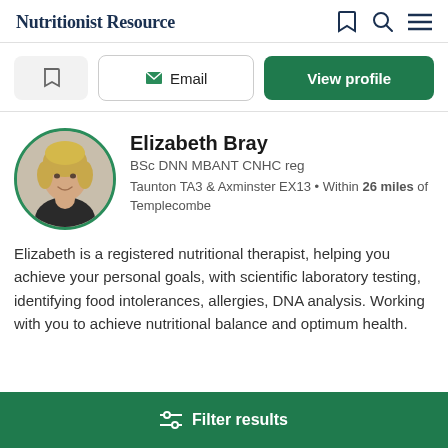Nutritionist Resource
Email | View profile
Elizabeth Bray
BSc DNN MBANT CNHC reg
Taunton TA3 & Axminster EX13 • Within 26 miles of Templecombe
Elizabeth is a registered nutritional therapist, helping you achieve your personal goals, with scientific laboratory testing, identifying food intolerances, allergies, DNA analysis. Working with you to achieve nutritional balance and optimum health.
Filter results